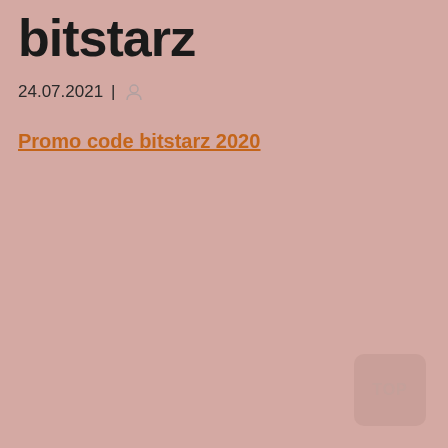bitstarz
24.07.2021 |
Promo code bitstarz 2020